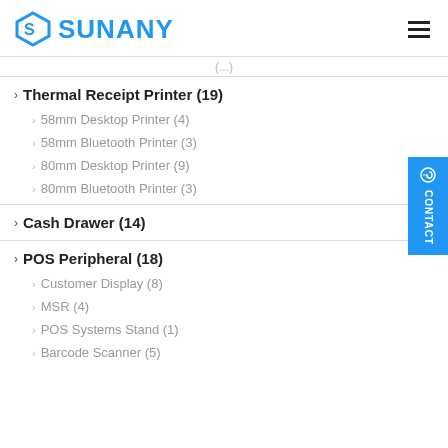SUNANY
(...)
Thermal Receipt Printer (19)
58mm Desktop Printer (4)
58mm Bluetooth Printer (3)
80mm Desktop Printer (9)
80mm Bluetooth Printer (3)
Cash Drawer (14)
POS Peripheral (18)
Customer Display (8)
MSR (4)
POS Systems Stand (1)
Barcode Scanner (5)